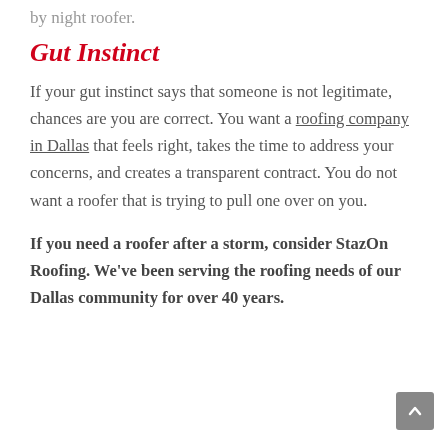by night roofer.
Gut Instinct
If your gut instinct says that someone is not legitimate, chances are you are correct. You want a roofing company in Dallas that feels right, takes the time to address your concerns, and creates a transparent contract. You do not want a roofer that is trying to pull one over on you.
If you need a roofer after a storm, consider StazOn Roofing. We've been serving the roofing needs of our Dallas community for over 40 years.